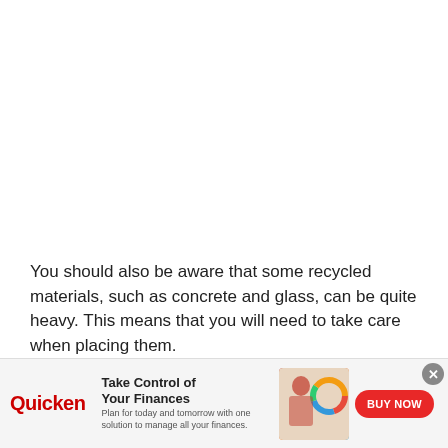You should also be aware that some recycled materials, such as concrete and glass, can be quite heavy. This means that you will need to take care when placing them.
It is also important to note that recycled materials...
[Figure (other): Advertisement banner for Quicken financial software. Shows Quicken logo in red, headline 'Take Control of Your Finances', subtext 'Plan for today and tomorrow with one solution to manage all your finances.', an image of a woman working on a laptop with a colorful donut chart graphic, and a red 'BUY NOW' button.]